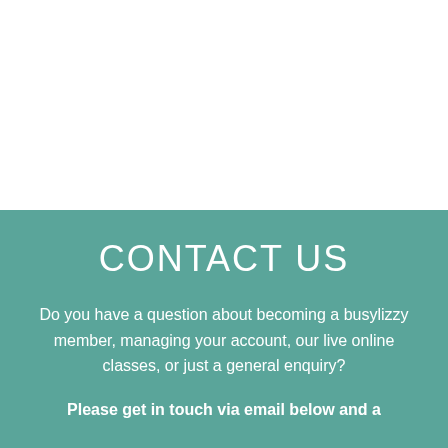CONTACT US
Do you have a question about becoming a busylizzy member, managing your account, our live online classes, or just a general enquiry?
Please get in touch via email below and a